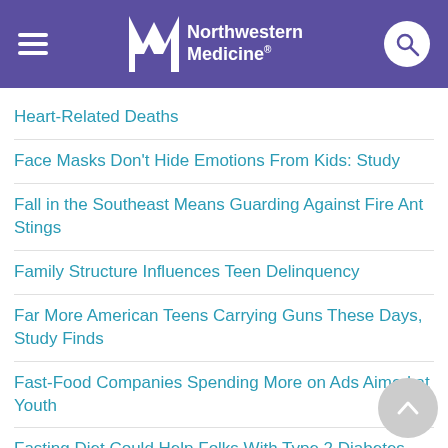Northwestern Medicine
Heart-Related Deaths
Face Masks Don't Hide Emotions From Kids: Study
Fall in the Southeast Means Guarding Against Fire Ant Stings
Family Structure Influences Teen Delinquency
Far More American Teens Carrying Guns These Days, Study Finds
Fast-Food Companies Spending More on Ads Aimed at Youth
Fasting Diet Could Help Folks With Type 2 Diabetes
Fat Around the Liver Raises Risk for Heart Failure